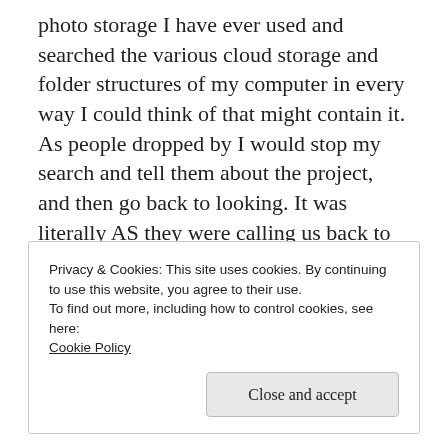photo storage I have ever used and searched the various cloud storage and folder structures of my computer in every way I could think of that might contain it. As people dropped by I would stop my search and tell them about the project, and then go back to looking. It was literally AS they were calling us back to attention that I figured out where they were. So, for your viewing pleasure, here is the link to the assignment document AND the pictures!
Privacy & Cookies: This site uses cookies. By continuing to use this website, you agree to their use.
To find out more, including how to control cookies, see here: Cookie Policy
Close and accept